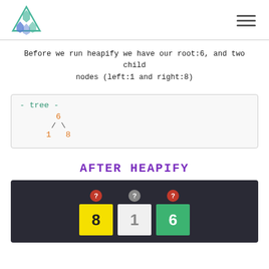Logo and hamburger menu
Before we run heapify we have our root:6, and two child nodes (left:1 and right:8)
[Figure (illustration): A monospace tree diagram showing root node 6 with left child 1 and right child 8, labelled '- tree -']
AFTER HEAPIFY
[Figure (infographic): Dark background array visualization showing three cells with values 8 (yellow), 1 (white/gray), 6 (green) each with question mark badges above]